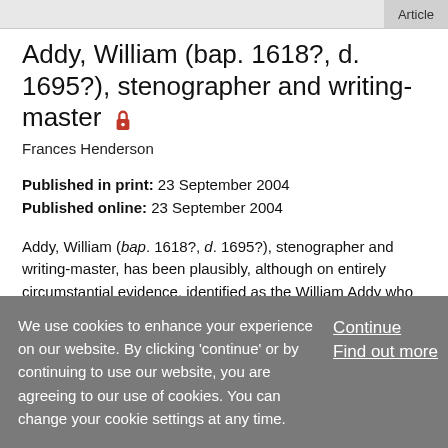Article
Addy, William (bap. 1618?, d. 1695?), stenographer and writing-master
Frances Henderson
Published in print: 23 September 2004
Published online: 23 September 2004
Addy, William (bap. 1618?, d. 1695?), stenographer and writing-master, has been plausibly, although on entirely circumstantial evidence, identified as the William Addy who was baptized in Wath upon Dearne, West Riding of Yorkshire,
We use cookies to enhance your experience on our website. By clicking 'continue' or by continuing to use our website, you are agreeing to our use of cookies. You can change your cookie settings at any time.